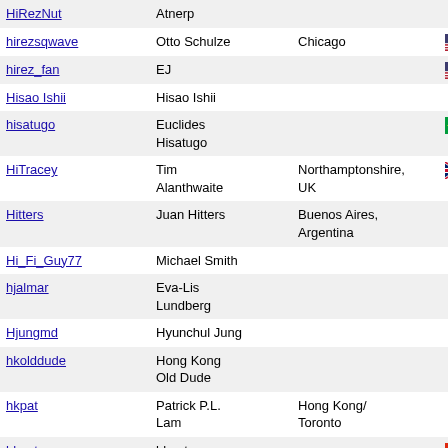| Username | Name | Location | Flag | Count |
| --- | --- | --- | --- | --- |
| HiRezNut | Atnerp |  |  | 1 |
| hirezsqwave | Otto Schulze | Chicago | 🇺🇸 |  |
| hirez_fan | EJ |  | 🇺🇸 |  |
| Hisao Ishii | Hisao Ishii |  |  |  |
| hisatugo | Euclides Hisatugo |  | 🇧🇷 |  |
| HiTracey | Tim Alanthwaite | Northamptonshire, UK | 🇬🇧 | 1 |
| Hitters | Juan Hitters | Buenos Aires, Argentina |  | 4 |
| Hi_Fi_Guy77 | Michael Smith |  |  |  |
| hjalmar | Eva-Lis Lundberg |  |  |  |
| Hjungmd | Hyunchul Jung |  |  |  |
| hkolddude | Hong Kong Old Dude |  |  |  |
| hkpat | Patrick P.L. Lam | Hong Kong/ Toronto |  | 14 |
| hkpatwg | hkpatwg |  | 🇭🇰 |  |
| hkrabye | Helge Krabye | Oslo, Norway | 🇳🇴 |  |